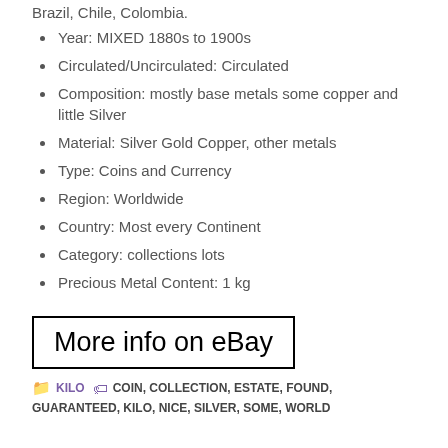Brazil, Chile, Colombia.
Year: MIXED 1880s to 1900s
Circulated/Uncirculated: Circulated
Composition: mostly base metals some copper and little Silver
Material: Silver Gold Copper, other metals
Type: Coins and Currency
Region: Worldwide
Country: Most every Continent
Category: collections lots
Precious Metal Content: 1 kg
More info on eBay
KILO  COIN, COLLECTION, ESTATE, FOUND, GUARANTEED, KILO, NICE, SILVER, SOME, WORLD